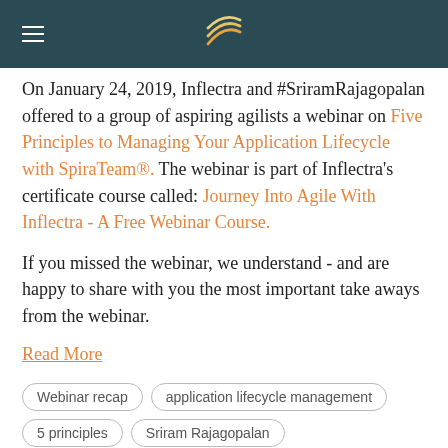Inflectra header with logo
On January 24, 2019, Inflectra and #SriramRajagopalan offered to a group of aspiring agilists a webinar on Five Principles to Managing Your Application Lifecycle with SpiraTeam®. The webinar is part of Inflectra's certificate course called: Journey Into Agile With Inflectra - A Free Webinar Course.
If you missed the webinar, we understand - and are happy to share with you the most important take aways from the webinar.
Read More
Webinar recap
application lifecycle management
5 principles
Sriram Rajagopalan
Agile By Inflectra Certificate